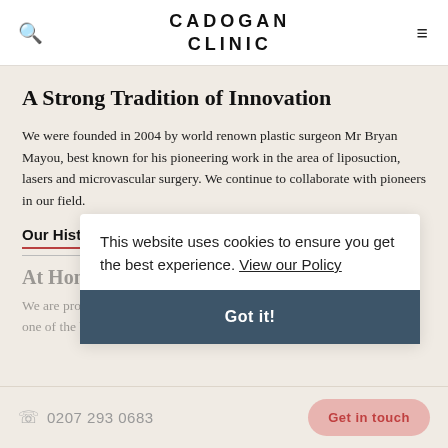CADOGAN CLINIC
A Strong Tradition of Innovation
We were founded in 2004 by world renown plastic surgeon Mr Bryan Mayou, best known for his pioneering work in the area of liposuction, lasers and microvascular surgery. We continue to collaborate with pioneers in our field.
Our History
At Home in Sloane Street, London
We are proud that our state of the art award winning clinic is located in one of the best neighbourhoods in the country
This website uses cookies to ensure you get the best experience. View our Policy
0207 293 0683  Got in touch